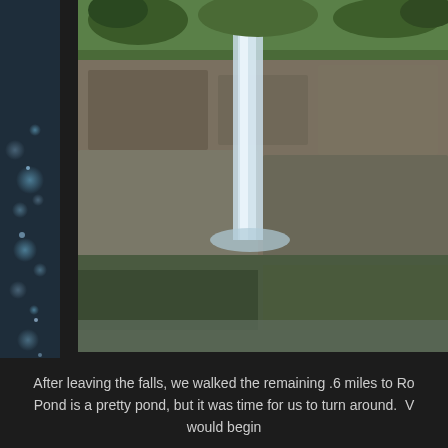[Figure (photo): Left edge: dark panel with blurred droplets/bokeh on a dark blue-gray background, partially visible. Right side: a photo of a waterfall cascading down rocky cliffs surrounded by green trees and moss-covered rocks.]
After leaving the falls, we walked the remaining .6 miles to Ro... Pond is a pretty pond, but it was time for us to turn around.  V... would begin...